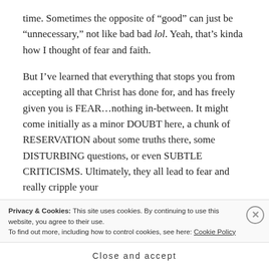time. Sometimes the opposite of “good” can just be “unnecessary,” not like bad bad lol. Yeah, that’s kinda how I thought of fear and faith.
But I’ve learned that everything that stops you from accepting all that Christ has done for, and has freely given you is FEAR…nothing in-between. It might come initially as a minor DOUBT here, a chunk of RESERVATION about some truths there, some DISTURBING questions, or even SUBTLE CRITICISMS. Ultimately, they all lead to fear and really cripple your
Privacy & Cookies: This site uses cookies. By continuing to use this website, you agree to their use.
To find out more, including how to control cookies, see here: Cookie Policy
Close and accept